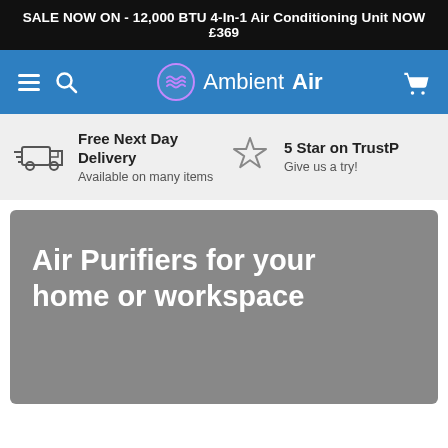SALE NOW ON - 12,000 BTU 4-In-1 Air Conditioning Unit NOW £369
[Figure (screenshot): AmbientAir website navigation bar with hamburger menu, search icon, AmbientAir logo, and cart icon on blue background]
Free Next Day Delivery
Available on many items
5 Star on TrustP
Give us a try!
Air Purifiers for your home or workspace